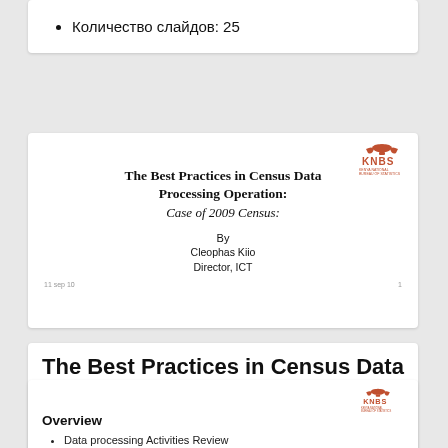Количество слайдов: 25
[Figure (other): KNBS logo (Kenya National Bureau of Statistics) - red/orange eagle and text]
The Best Practices in Census Data Processing Operation: Case of 2009 Census:
By
Cleophas Kiio
Director, ICT
11 sep 10                                                                               1
The Best Practices in Census Data Processing Operation: Case of 2009 Census: By Cleophas Kiio Director, ICT 15 -sep-10 1
[Figure (logo): KNBS logo (Kenya National Bureau of Statistics) - red/orange eagle and text]
Overview
Data processing Activities Review
Planning for Data processing
Setting the Data processing site